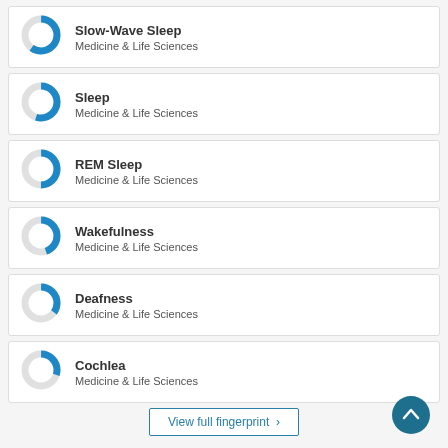[Figure (donut-chart): Donut chart for Slow-Wave Sleep, approximately 60% filled blue]
Slow-Wave Sleep
Medicine & Life Sciences
[Figure (donut-chart): Donut chart for Sleep, approximately 55% filled blue]
Sleep
Medicine & Life Sciences
[Figure (donut-chart): Donut chart for REM Sleep, approximately 50% filled blue]
REM Sleep
Medicine & Life Sciences
[Figure (donut-chart): Donut chart for Wakefulness, approximately 45% filled blue]
Wakefulness
Medicine & Life Sciences
[Figure (donut-chart): Donut chart for Deafness, approximately 35% filled blue]
Deafness
Medicine & Life Sciences
[Figure (donut-chart): Donut chart for Cochlea, approximately 30% filled blue]
Cochlea
Medicine & Life Sciences
View full fingerprint >